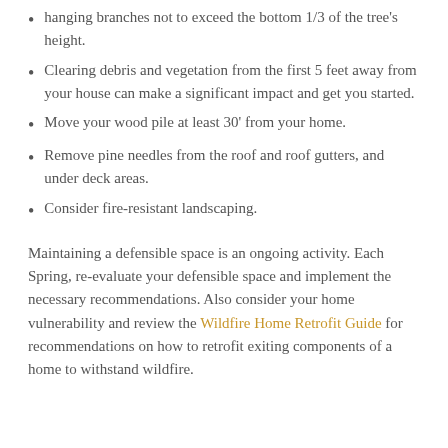hanging branches not to exceed the bottom 1/3 of the tree's height.
Clearing debris and vegetation from the first 5 feet away from your house can make a significant impact and get you started.
Move your wood pile at least 30' from your home.
Remove pine needles from the roof and roof gutters, and under deck areas.
Consider fire-resistant landscaping.
Maintaining a defensible space is an ongoing activity. Each Spring, re-evaluate your defensible space and implement the necessary recommendations. Also consider your home vulnerability and review the Wildfire Home Retrofit Guide for recommendations on how to retrofit exiting components of a home to withstand wildfire.